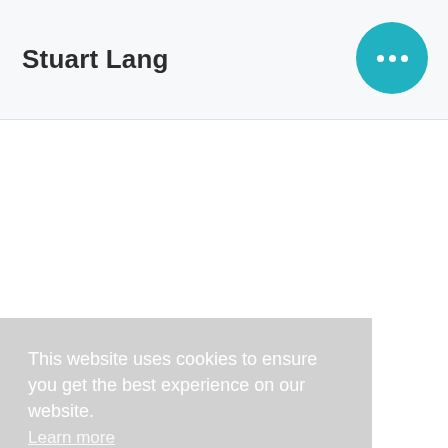Stuart Lang
This website uses cookies to ensure you get the best experience on our website. Learn more
Got it!